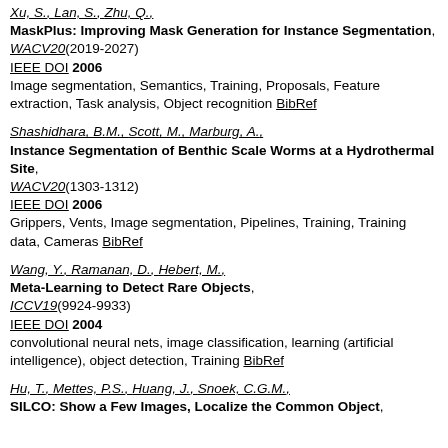Xu, S., Lan, S., Zhu, Q., MaskPlus: Improving Mask Generation for Instance Segmentation, WACV20(2019-2027) IEEE DOI 2006 Image segmentation, Semantics, Training, Proposals, Feature extraction, Task analysis, Object recognition BibRef
Shashidhara, B.M., Scott, M., Marburg, A., Instance Segmentation of Benthic Scale Worms at a Hydrothermal Site, WACV20(1303-1312) IEEE DOI 2006 Grippers, Vents, Image segmentation, Pipelines, Training, Training data, Cameras BibRef
Wang, Y., Ramanan, D., Hebert, M., Meta-Learning to Detect Rare Objects, ICCV19(9924-9933) IEEE DOI 2004 convolutional neural nets, image classification, learning (artificial intelligence), object detection, Training BibRef
Hu, T., Mettes, P.S., Huang, J., Snoek, C.G.M., SILCO: Show a Few Images, Localize the Common Object